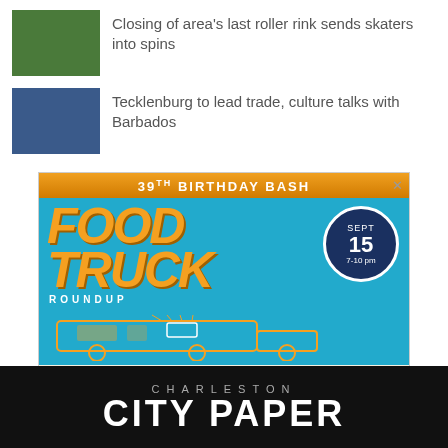[Figure (photo): Small thumbnail image of a building with green exterior]
Closing of area's last roller rink sends skaters into spins
[Figure (photo): Small thumbnail image of a waterfront or coastal scene]
Tecklenburg to lead trade, culture talks with Barbados
[Figure (infographic): Advertisement for 39th Birthday Bash Food Truck Roundup at Firefly Distillery, 4201 Spruill Ave, Sept 15, 7-10pm. The Pita Stroller • Fed Up. Neighbors Together.]
CHARLESTON CITY PAPER